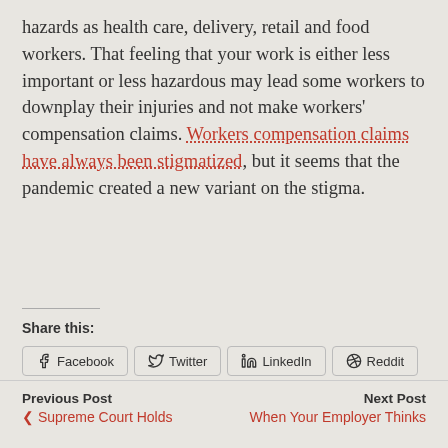hazards as health care, delivery, retail and food workers. That feeling that your work is either less important or less hazardous may lead some workers to downplay their injuries and not make workers' compensation claims. Workers compensation claims have always been stigmatized, but it seems that the pandemic created a new variant on the stigma.
Share this:
Facebook | Twitter | LinkedIn | Reddit | Print | More
Previous Post
Supreme Court Holds
Next Post
When Your Employer Thinks